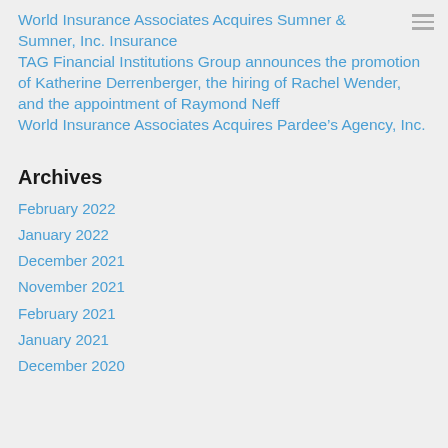World Insurance Associates Acquires Sumner & Sumner, Inc. Insurance
TAG Financial Institutions Group announces the promotion of Katherine Derrenberger, the hiring of Rachel Wender, and the appointment of Raymond Neff
World Insurance Associates Acquires Pardee’s Agency, Inc.
Archives
February 2022
January 2022
December 2021
November 2021
February 2021
January 2021
December 2020